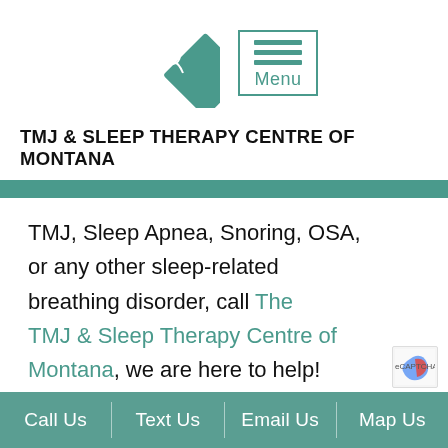[Figure (logo): Teal diamond-shaped logo with a face/profile silhouette, paired with a teal bordered menu icon box showing three horizontal lines and the word Menu below]
TMJ & SLEEP THERAPY CENTRE OF MONTANA
TMJ, Sleep Apnea, Snoring, OSA, or any other sleep-related breathing disorder, call The TMJ & Sleep Therapy Centre of Montana, we are here to help!
Call Us | Text Us | Email Us | Map Us